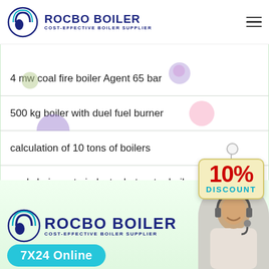ROCBO BOILER - COST-EFFECTIVE BOILER SUPPLIER
4 mw coal fire boiler Agent 65 bar
500 kg boiler with duel fuel burner
calculation of 10 tons of boilers
coal chain grate industry hot water boiler
[Figure (logo): Rocbo Boiler logo - cost-effective boiler supplier, bottom of page]
7X24 Online